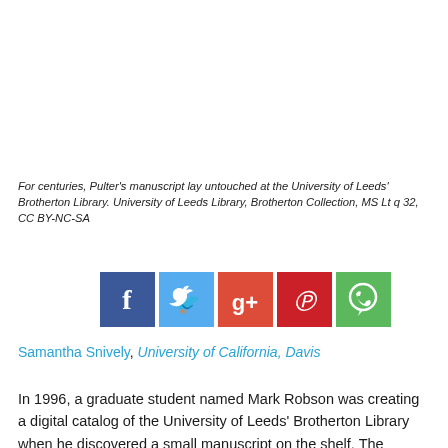For centuries, Pulter's manuscript lay untouched at the University of Leeds' Brotherton Library. University of Leeds Library, Brotherton Collection, MS Lt q 32, CC BY-NC-SA
[Figure (other): Row of five social media sharing buttons: Facebook (dark blue), Twitter (light blue), Google+ (red-orange), Pinterest (dark red), WhatsApp (green)]
Samantha Snively, University of California, Davis
In 1996, a graduate student named Mark Robson was creating a digital catalog of the University of Leeds' Brotherton Library when he discovered a small manuscript on the shelf. The